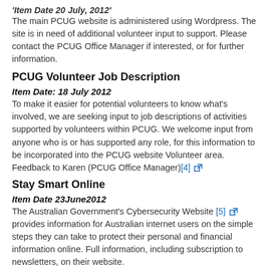'Item Date 20 July, 2012'
The main PCUG website is administered using Wordpress. The site is in need of additional volunteer input to support. Please contact the PCUG Office Manager if interested, or for further information.
PCUG Volunteer Job Description
Item Date: 18 July 2012
To make it easier for potential volunteers to know what's involved, we are seeking input to job descriptions of activities supported by volunteers within PCUG. We welcome input from anyone who is or has supported any role, for this information to be incorporated into the PCUG website Volunteer area. Feedback to Karen (PCUG Office Manager)[4]
Stay Smart Online
Item Date 23June2012
The Australian Government's Cybersecurity Website [5] provides information for Australian internet users on the simple steps they can take to protect their personal and financial information online. Full information, including subscription to newsletters, on their website.
TIO
Item Date 23June2012
PCUG is a member of the TELECOMMUNICATIONS INDUSTRY OMBUDSMAN [6]